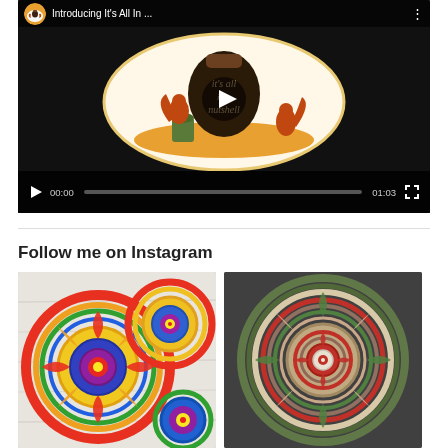[Figure (screenshot): Embedded video player showing 'Introducing It's All In ...' with squirrel and acorn logo animation. Controls show 00:00 / 01:03 with play button and progress bar.]
Follow me on Instagram
[Figure (photo): Colorful crocheted mandala circular patterns on a white wood surface — multiple overlapping mandalas in vivid rainbow colors.]
[Figure (photo): Crocheted mandala in muted green, red, cream and brown tones on a dark background.]